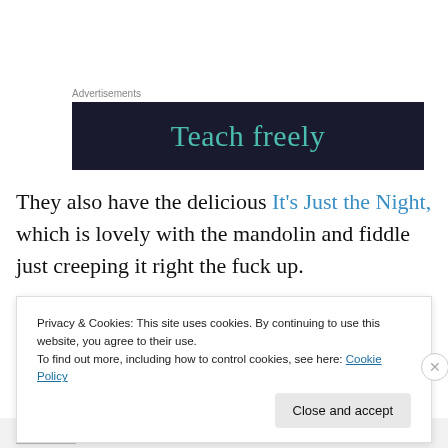Advertisements
[Figure (other): Advertisement banner with dark navy background and teal text reading 'Teach freely']
They also have the delicious It's Just the Night, which is lovely with the mandolin and fiddle just creeping it right the fuck up.
Privacy & Cookies: This site uses cookies. By continuing to use this website, you agree to their use.
To find out more, including how to control cookies, see here: Cookie Policy